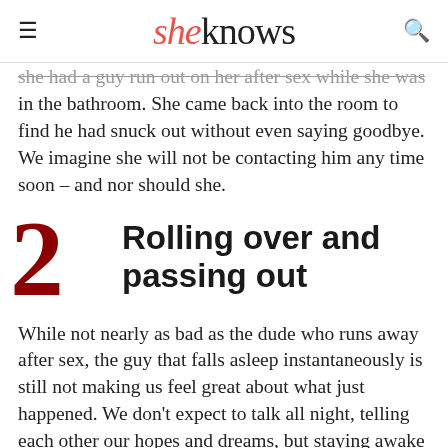sheknows
she had a guy run out on her after sex while she was in the bathroom. She came back into the room to find he had snuck out without even saying goodbye. We imagine she will not be contacting him any time soon – and nor should she.
2 Rolling over and passing out
While not nearly as bad as the dude who runs away after sex, the guy that falls asleep instantaneously is still not making us feel great about what just happened. We don't expect to talk all night, telling each other our hopes and dreams, but staying awake long enough to say goodnight really shouldn't be that